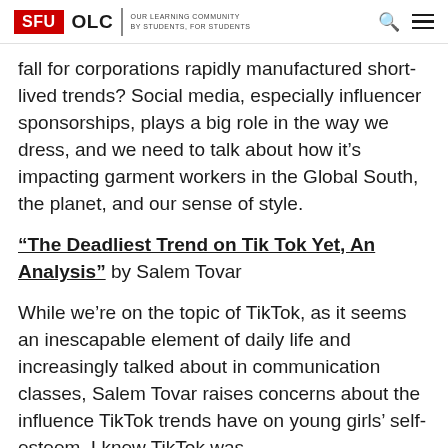SFU OLC | OUR LEARNING COMMUNITY BY STUDENTS, FOR STUDENTS
fall for corporations rapidly manufactured short-lived trends? Social media, especially influencer sponsorships, plays a big role in the way we dress, and we need to talk about how it's impacting garment workers in the Global South, the planet, and our sense of style.
"The Deadliest Trend on Tik Tok Yet, An Analysis" by Salem Tovar
While we're on the topic of TikTok, as it seems an inescapable element of daily life and increasingly talked about in communication classes, Salem Tovar raises concerns about the influence TikTok trends have on young girls' self-esteem. I knew TikTok was